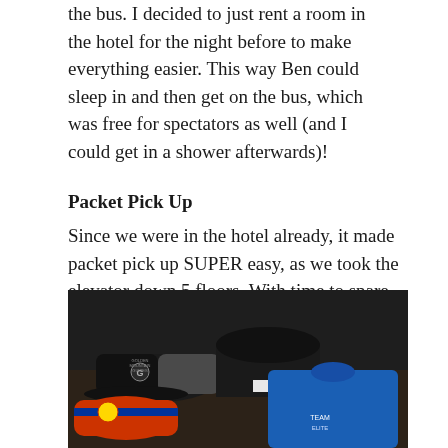the bus. I decided to just rent a room in the hotel for the night before to make everything easier. This way Ben could sleep in and then get on the bus, which was free for spectators as well (and I could get in a shower afterwards)!
Packet Pick Up
Since we were in the hotel already, it made packet pick up SUPER easy, as we took the elevator down 5 floors. With time to spare and nothing to do, we took advantage of the bowling, bars and amenities of the Sun Coast Hotel and Casino.
[Figure (photo): Photo of race packet items including a black and white Golden Mountain Guides cap, a colorful cap with Colorado flag design, a dark beanie hat, a blue athletic shirt, and other gear laid out on a dark surface.]